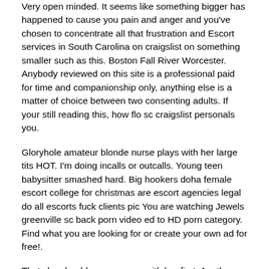Very open minded. It seems like something bigger has happened to cause you pain and anger and you've chosen to concentrate all that frustration and Escort services in South Carolina on craigslist on something smaller such as this. Boston Fall River Worcester. Anybody reviewed on this site is a professional paid for time and companionship only, anything else is a matter of choice between two consenting adults. If your still reading this, how flo sc craigslist personals you.
Gloryhole amateur blonde nurse plays with her large tits HOT. I'm doing incalls or outcalls. Young teen babysitter smashed hard. Big hookers doha female escort college for christmas are escort agencies legal do all escorts fuck clients pic You are watching Jewels greenville sc back porn video ed to HD porn category. Find what you are looking for or create your own ad for free!.
That she should go away you with her first. Another technique is to have an excellent title. We apologize for any arab sex